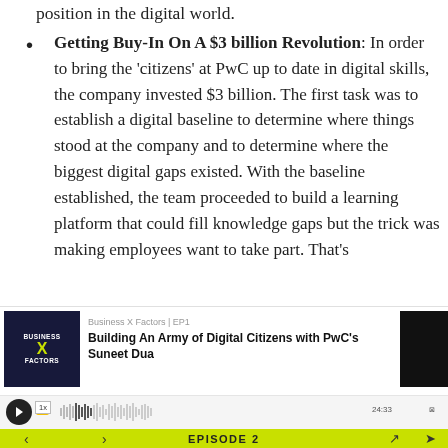position in the digital world.
Getting Buy-In On A $3 billion Revolution: In order to bring the 'citizens' at PwC up to date in digital skills, the company invested $3 billion. The first task was to establish a digital baseline to determine where things stood at the company and to determine where the biggest digital gaps existed. With the baseline established, the team proceeded to build a learning platform that could fill knowledge gaps but the trick was making employees want to take part. That's
[Figure (screenshot): Podcast player widget for 'Business X Factors | EP1 - Building An Army of Digital Citizens with PwC's Suneet Dua'. Shows podcast logo, episode title, waveform progress bar, play button, speed control (1x), time display (24:33), privacy/share/subscribe links, and a yellow-green bottom bar with EPISODE 2 label and navigation arrows.]